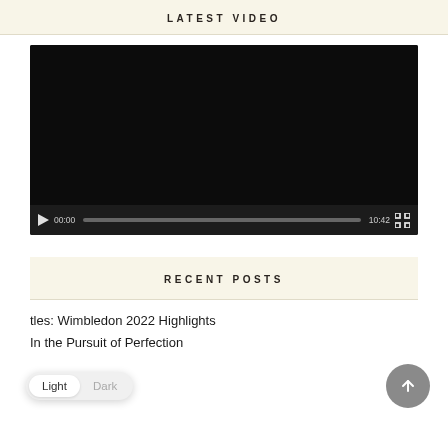LATEST VIDEO
[Figure (screenshot): Video player with black screen showing 00:00 timecode, progress bar, 10:42 total duration, and fullscreen button]
RECENT POSTS
tles: Wimbledon 2022 Highlights
In the Pursuit of Perfection